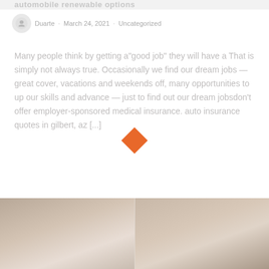automobile renewable options
Duarte · March 24, 2021 · Uncategorized
Many people think by getting a"good job" they will have a That is simply not always true. Occasionally we find our dream jobs —great cover, vacations and weekends off, many opportunities to up our skills and advance — just to find out our dream jobsdon't offer employer-sponsored medical insurance. auto insurance quotes in gilbert, az [...]
[Figure (illustration): Two side-by-side photographic images at the bottom of the page showing people, partially visible, in muted warm tones]